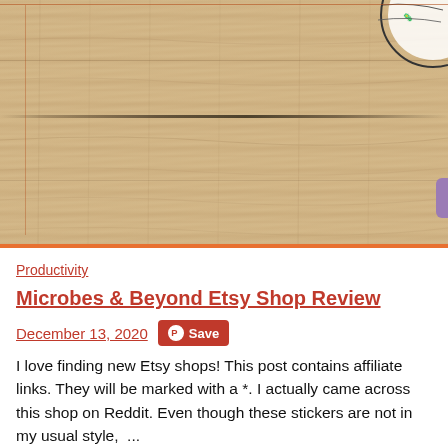[Figure (photo): A wooden surface/table texture in light beige and tan tones with visible wood grain lines and a horizontal crack across the middle. The top-right corner shows a partial circular logo/sticker and a purple accent.]
Productivity
Microbes & Beyond Etsy Shop Review
December 13, 2020  Save
I love finding new Etsy shops! This post contains affiliate links. They will be marked with a *. I actually came across this shop on Reddit. Even though these stickers are not in my usual style,  ...